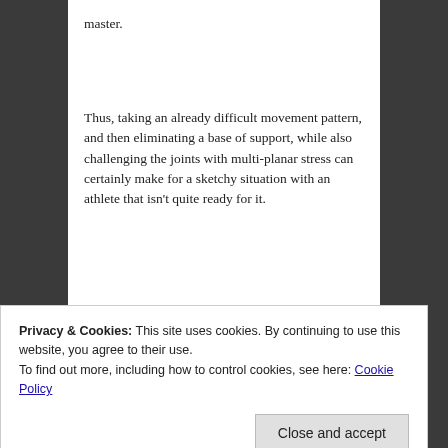master.
Thus, taking an already difficult movement pattern, and then eliminating a base of support, while also challenging the joints with multi-planar stress can certainly make for a sketchy situation with an athlete that isn't quite ready for it.
Privacy & Cookies: This site uses cookies. By continuing to use this website, you agree to their use.
To find out more, including how to control cookies, see here: Cookie Policy
Close and accept